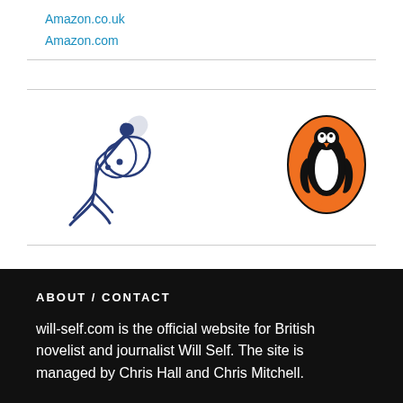Amazon.co.uk
Amazon.com
[Figure (logo): Blue stylized figure/dancer logo (Bloomsbury or similar publisher)]
[Figure (logo): Penguin Books orange oval logo with black penguin]
ABOUT / CONTACT
will-self.com is the official website for British novelist and journalist Will Self. The site is managed by Chris Hall and Chris Mitchell.